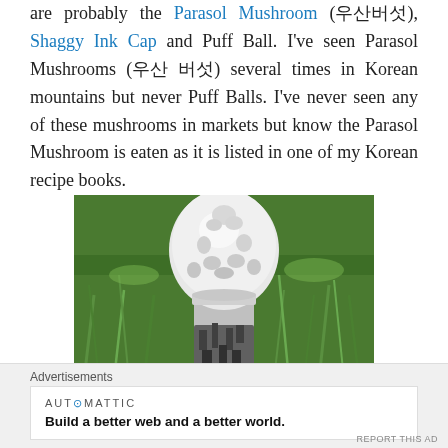are probably the Parasol Mushroom (우산버섯), Shaggy Ink Cap and Puff Ball. I've seen Parasol Mushrooms (우산 버섯) several times in Korean mountains but never Puff Balls. I've never seen any of these mushrooms in markets but know the Parasol Mushroom is eaten as it is listed in one of my Korean recipe books.
[Figure (photo): Close-up photograph of a Shaggy Ink Cap mushroom (white, bell-shaped cap with shaggy texture, dark base) growing in green grass]
Advertisements
AUTOMATTIC — Build a better web and a better world.